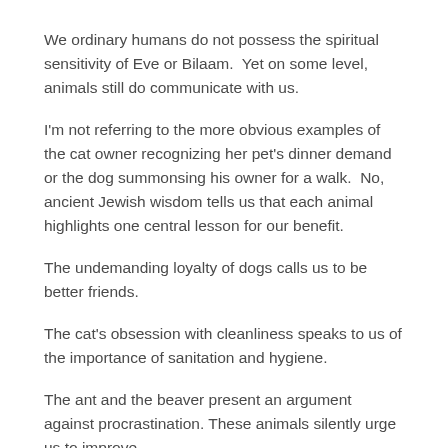We ordinary humans do not possess the spiritual sensitivity of Eve or Bilaam.  Yet on some level, animals still do communicate with us.
I'm not referring to the more obvious examples of the cat owner recognizing her pet's dinner demand or the dog summonsing his owner for a walk.  No, ancient Jewish wisdom tells us that each animal highlights one central lesson for our benefit.
The undemanding loyalty of dogs calls us to be better friends.
The cat's obsession with cleanliness speaks to us of the importance of sanitation and hygiene.
The ant and the beaver present an argument against procrastination. These animals silently urge us to improve.